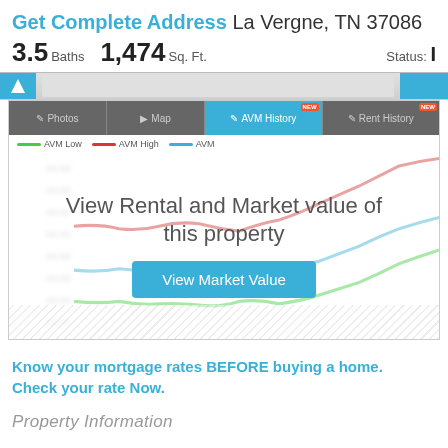Get Complete Address La Vergne, TN 37086
3.5 Baths   1,474 Sq. Ft.   Status: I
[Figure (screenshot): Property AVM History chart screenshot with tabs for Photos, Map, AVM History (active), and Rent History. Shows three overlapping line charts (AVM Low in green, AVM High in red, AVM in blue) blurred/gated behind a 'View Rental and Market value of this property' overlay with a 'View Market Value' button. Y-axis is blurred. X-axis shows blurred hatched bars.]
Know your mortgage rates BEFORE buying a home. Check your rate Now.
Property Information